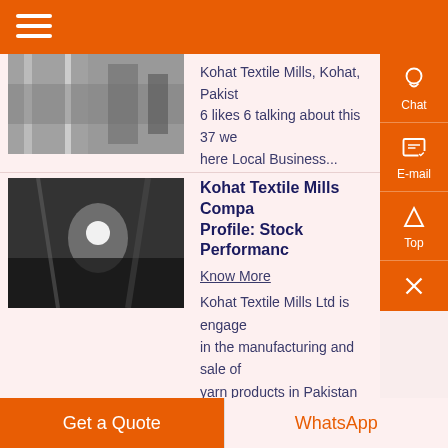Kohat Textile Mills, Kohat, Pakistan. 6 likes 6 talking about this 37 were here Local Business...
Kohat Textile Mills Company Profile: Stock Performance
Know More
Kohat Textile Mills Ltd is engaged in the manufacturing and sale of yarn products in Pakistan The product portfolio of the company includes Raw White Yarn, Health
Get a Quote | WhatsApp